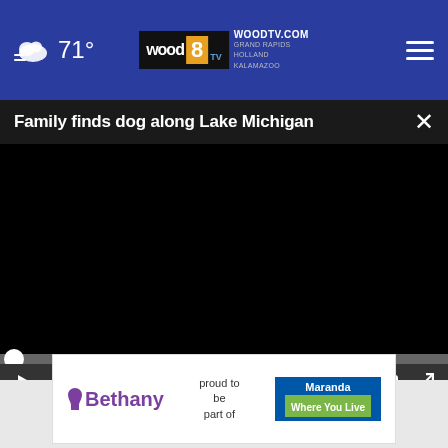71° woodtv.com WOOD 8 TV GRAND RAPIDS HOLLAND KALAMAZOO
Family finds dog along Lake Michigan
[Figure (screenshot): Black video player area with progress bar and playback controls showing 00:00]
mistake, when... CONTINUE READING
[Figure (other): Bethany advertisement: proud to be part of Maranda Where You Live]